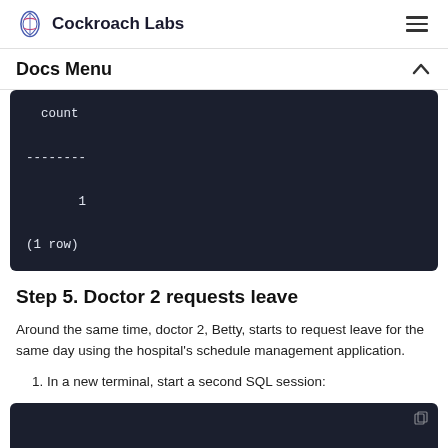Cockroach Labs
Docs Menu
[Figure (screenshot): Dark code block showing SQL query result: count column header, dashes separator, value 1, and (1 row)]
Step 5. Doctor 2 requests leave
Around the same time, doctor 2, Betty, starts to request leave for the same day using the hospital's schedule management application.
1. In a new terminal, start a second SQL session:
[Figure (screenshot): Dark code block (partially visible at bottom of page)]